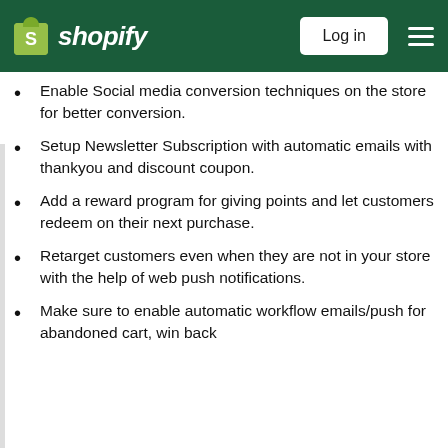Shopify — Log in
Enable Social media conversion techniques on the store for better conversion.
Setup Newsletter Subscription with automatic emails with thankyou and discount coupon.
Add a reward program for giving points and let customers redeem on their next purchase.
Retarget customers even when they are not in your store with the help of web push notifications.
Make sure to enable automatic workflow emails/push for abandoned cart, win back